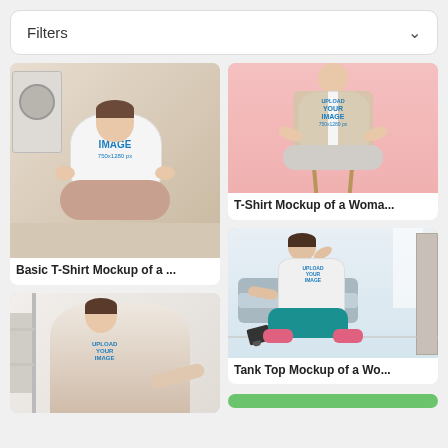Filters
[Figure (photo): Woman in white t-shirt with 'UPLOAD YOUR IMAGE 750x1280px' placeholder meditating in lotus position in front of a washing machine on a beige carpet. Basic T-Shirt Mockup.]
Basic T-Shirt Mockup of a ...
[Figure (photo): Woman in white t-shirt with upload image placeholder sitting in lotus position on a stool against a pink background, wearing a beige cardigan. T-Shirt Mockup.]
T-Shirt Mockup of a Woma...
[Figure (photo): Woman in tank top with upload image placeholder doing yoga or stretching near shelves in a living room. Partial view cropped.]
[Figure (photo): Woman in tank top with upload image placeholder sitting on the floor in athletic wear (teal leggings, pink sneakers) in a living room with a grey sofa and a tablet in front of her. Tank Top Mockup.]
Tank Top Mockup of a Wo...